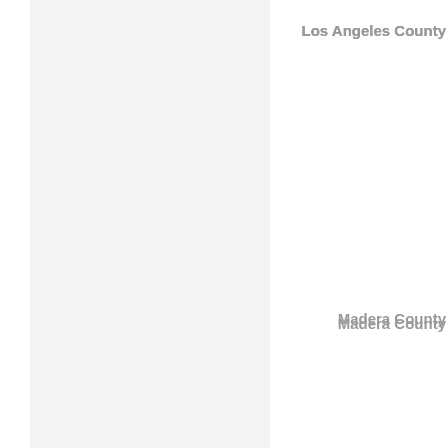Los Angeles County
Madera County
Marin County
Mariposa County